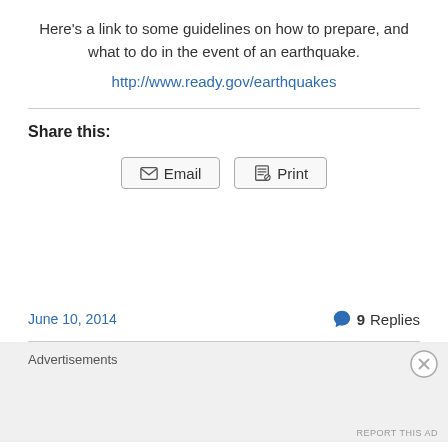Here's a link to some guidelines on how to prepare, and what to do in the event of an earthquake.
http://www.ready.gov/earthquakes
Share this:
Email  Print
June 10, 2014   9 Replies
Advertisements